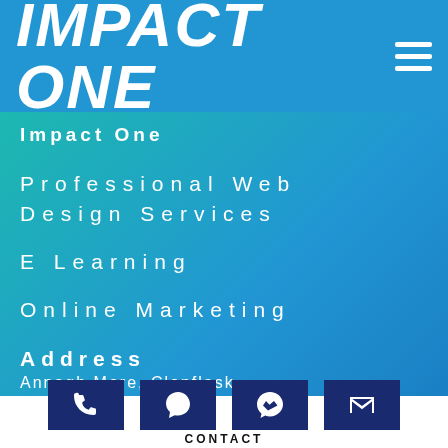IMPACT ONE
Impact One
Professional Web Design Services
E Learning
Online Marketing
Address
Annagh More, Clonflask
CONTACT